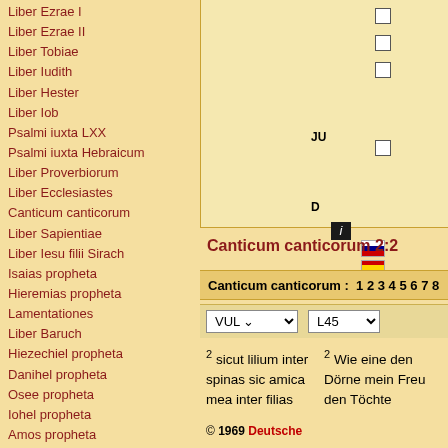Liber Ezrae I
Liber Ezrae II
Liber Tobiae
Liber Iudith
Liber Hester
Liber Iob
Psalmi iuxta LXX
Psalmi iuxta Hebraicum
Liber Proverbiorum
Liber Ecclesiastes
Canticum canticorum
Liber Sapientiae
Liber Iesu filii Sirach
Isaias propheta
Hieremias propheta
Lamentationes
Liber Baruch
Hiezechiel propheta
Danihel propheta
Osee propheta
Iohel propheta
Amos propheta
Abdias propheta
Iona propheta
Micha propheta
Naum propheta
Abacuc propheta
Sofonias propheta
Canticum canticorum 2:2
Canticum canticorum : 1 2 3 4 5 6 7 8
VUL | L45
2 sicut lilium inter spinas sic amica mea inter filias
2 Wie eine den Dörne mein Freu den Töchte
Language
© 1969 Deutsche